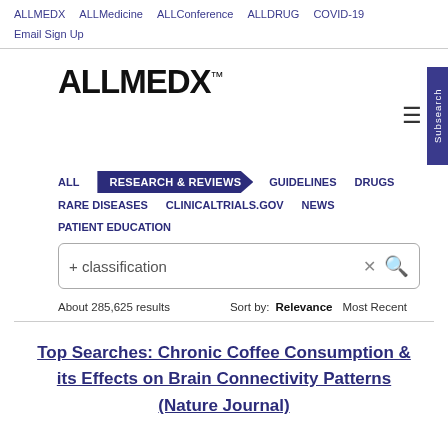ALLMEDX   ALLMedicine   ALLConference   ALLDRUG   COVID-19   Email Sign Up
[Figure (logo): ALLMEDX trademark logo in bold black text with TM superscript]
ALL   RESEARCH & REVIEWS   GUIDELINES   DRUGS   RARE DISEASES   CLINICALTRIALS.GOV   NEWS   PATIENT EDUCATION
+ classification
About 285,625 results   Sort by: Relevance   Most Recent
Top Searches: Chronic Coffee Consumption & its Effects on Brain Connectivity Patterns (Nature Journal)